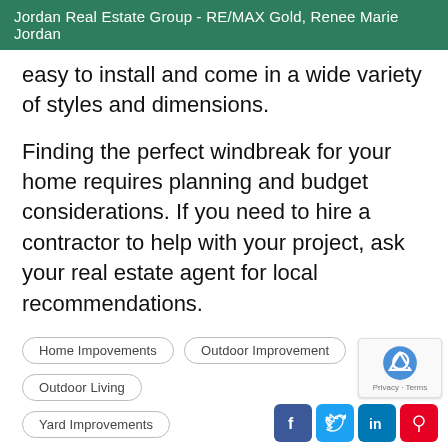Jordan Real Estate Group - RE/MAX Gold, Renee Marie Jordan
easy to install and come in a wide variety of styles and dimensions.
Finding the perfect windbreak for your home requires planning and budget considerations. If you need to hire a contractor to help with your project, ask your real estate agent for local recommendations.
Home Impovements
Outdoor Improvement
Outdoor Living
Yard Improvements